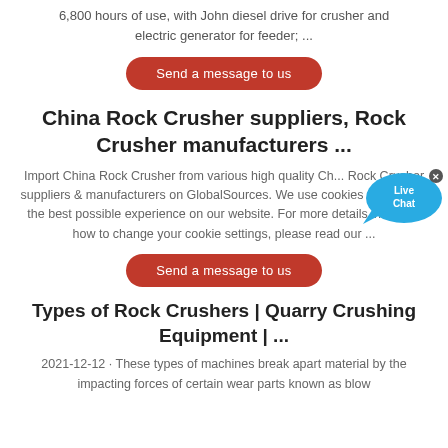6,800 hours of use, with John diesel drive for crusher and electric generator for feeder; ...
Send a message to us
China Rock Crusher suppliers, Rock Crusher manufacturers ...
Import China Rock Crusher from various high quality Chinese Rock Crusher suppliers & manufacturers on GlobalSources. We use cookies to give you the best possible experience on our website. For more details including how to change your cookie settings, please read our ...
Send a message to us
Types of Rock Crushers | Quarry Crushing Equipment | ...
2021-12-12 · These types of machines break apart material by the impacting forces of certain wear parts known as blow